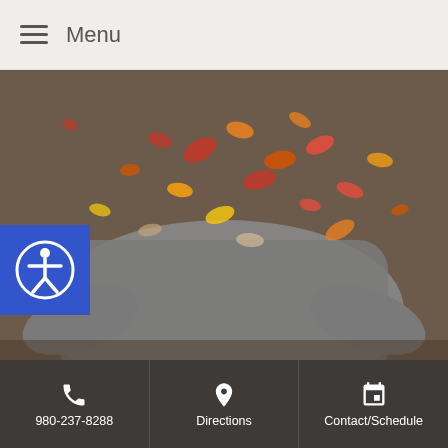Menu
[Figure (photo): Person in grey sweater with autumn leaves swirling around them, arms outstretched]
Organs of the season: Lung & Large Intestine are the organs of the metal element and the Autumn season. Together these organs form a protective layer against pathogenic factors that often enter through the respiratory and digestive systems. Their Chinese medicine function further explains their role in immunity. Lung commands the qi in the body and has a strong influence on what
980-237-8288   Directions   Contact/Schedule